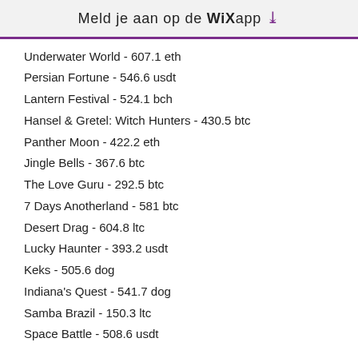Meld je aan op de WiX app ⬇
Underwater World - 607.1 eth
Persian Fortune - 546.6 usdt
Lantern Festival - 524.1 bch
Hansel & Gretel: Witch Hunters - 430.5 btc
Panther Moon - 422.2 eth
Jingle Bells - 367.6 btc
The Love Guru - 292.5 btc
7 Days Anotherland - 581 btc
Desert Drag - 604.8 ltc
Lucky Haunter - 393.2 usdt
Keks - 505.6 dog
Indiana's Quest - 541.7 dog
Samba Brazil - 150.3 ltc
Space Battle - 508.6 usdt
Videoslots, card and board games:
22Bet Casino Fancy Fruits
Cloudbet Casino Take 5 Red Hot Firepot